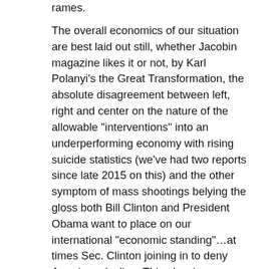rames.
The overall economics of our situation are best laid out still, whether Jacobin magazine likes it or not, by Karl Polanyi’s the Great Transformation, the absolute disagreement between left, right and center on the nature of the allowable “interventions” into an underperforming economy with rising suicide statistics (we’ve had two reports since late 2015 on this) and the other symptom of mass shootings belying the gloss both Bill Clinton and President Obama want to place on our international “economic standing”…at times Sec. Clinton joining in to deny American decline. This glossing serves to block out working and lower middle class pain for the top 20% income group which Thomas Frank has reminded us has moved